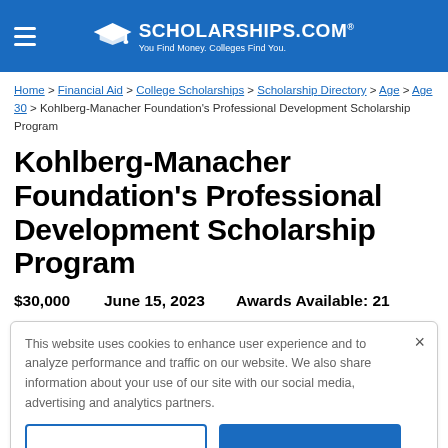SCHOLARSHIPS.COM® — You Find Money. Colleges Find You.
Home > Financial Aid > College Scholarships > Scholarship Directory > Age > Age 30 > Kohlberg-Manacher Foundation's Professional Development Scholarship Program
Kohlberg-Manacher Foundation's Professional Development Scholarship Program
$30,000    June 15, 2023    Awards Available: 21
This website uses cookies to enhance user experience and to analyze performance and traffic on our website. We also share information about your use of our site with our social media, advertising and analytics partners.